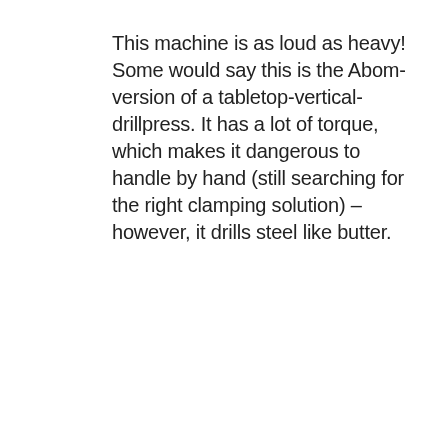This machine is as loud as heavy! Some would say this is the Abom-version of a tabletop-vertical-drillpress. It has a lot of torque, which makes it dangerous to handle by hand (still searching for the right clamping solution) – however, it drills steel like butter.